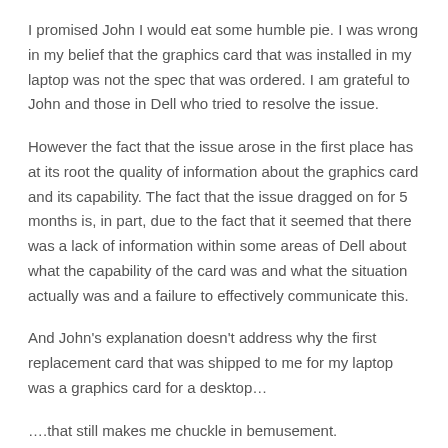I promised John I would eat some humble pie. I was wrong in my belief that the graphics card that was installed in my laptop was not the spec that was ordered. I am grateful to John and those in Dell who tried to resolve the issue.
However the fact that the issue arose in the first place has at its root the quality of information about the graphics card and its capability. The fact that the issue dragged on for 5 months is, in part, due to the fact that it seemed that there was a lack of information within some areas of Dell about what the capability of the card was and what the situation actually was and a failure to effectively communicate this.
And John's explanation doesn't address why the first replacement card that was shipped to me for my laptop was a graphics card for a desktop…
….that still makes me chuckle in bemusement.